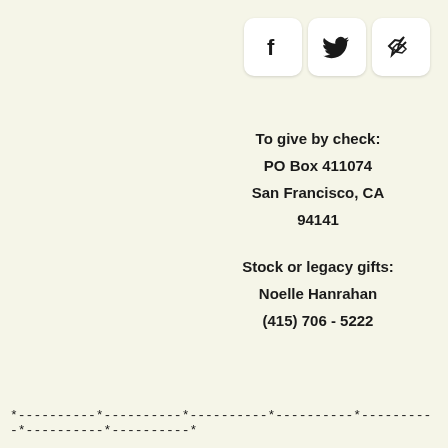[Figure (infographic): Three social sharing buttons: Facebook (f), Twitter (bird), and link/chain icon, displayed as white rounded square buttons]
To give by check:
PO Box 411074
San Francisco, CA
94141
Stock or legacy gifts:
Noelle Hanrahan
(415) 706 - 5222
*----------*----------*----------*----------*----------*----------*----------*